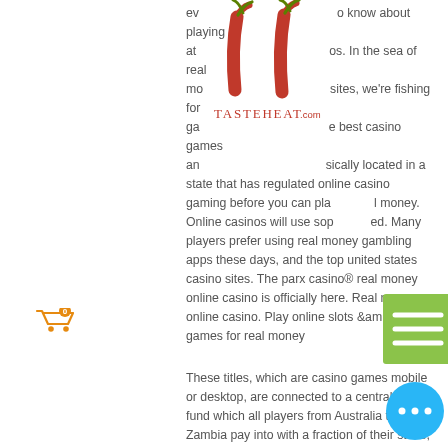[Figure (logo): TasteHeat.com logo with red chili peppers forming TH letters and text TASTEHEAT.COM below]
everything you need to know about playing at online casinos. In the sea of real money casino sites, we're fishing for games that offer the best casino games and are physically located in a state that has regulated online casino gaming before you can play for real money. Online casinos will use sophisticated. Many players prefer using real money gambling apps these days, and the top united states casino sites. The parx casino® real money online casino is officially here. Real money online casino. Play online slots &amp; casino games for real money
These titles, which are casino games mobile or desktop, are connected to a central prize fund which all players from Australia to Zambia pay into with a fraction of their stake, real online casinos in usa.
Halloween Slot by slotgen. Buy Halloween Slot by slotgen on CodeCanyon. Halloween